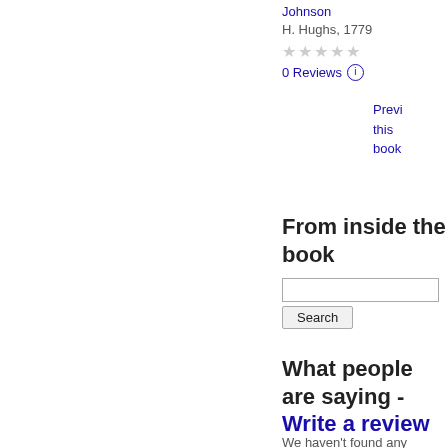Johnson
H. Hughs, 1779
★★★★★
0 Reviews ⓘ
Preview this book
From inside the book
Search
What people are saying - Write a review
We haven't found any